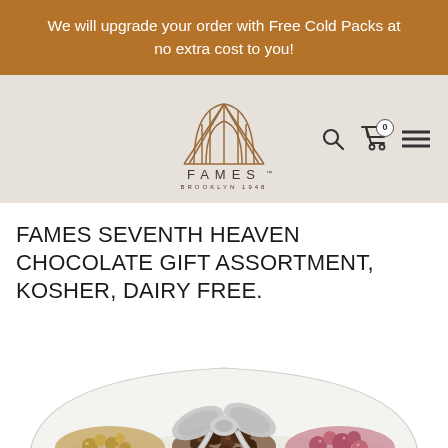We will upgrade your order with Free Cold Packs at no extra cost to you!
[Figure (logo): FAMES Brooklyn 1948 logo with bridge illustration]
FAMES SEVENTH HEAVEN CHOCOLATE GIFT ASSORTMENT, KOSHER, DAIRY FREE.
[Figure (photo): Chocolate gift assortment in clear dome with silver bow, showing chocolate-covered nuts and candies]